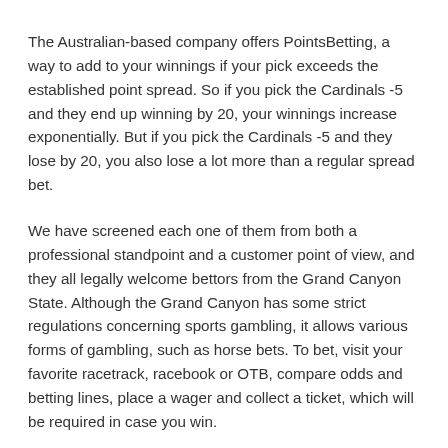The Australian-based company offers PointsBetting, a way to add to your winnings if your pick exceeds the established point spread. So if you pick the Cardinals -5 and they end up winning by 20, your winnings increase exponentially. But if you pick the Cardinals -5 and they lose by 20, you also lose a lot more than a regular spread bet.
We have screened each one of them from both a professional standpoint and a customer point of view, and they all legally welcome bettors from the Grand Canyon State. Although the Grand Canyon has some strict regulations concerning sports gambling, it allows various forms of gambling, such as horse bets. To bet, visit your favorite racetrack, racebook or OTB, compare odds and betting lines, place a wager and collect a ticket, which will be required in case you win.
Some of them allow only for bets on simulcast horse racing